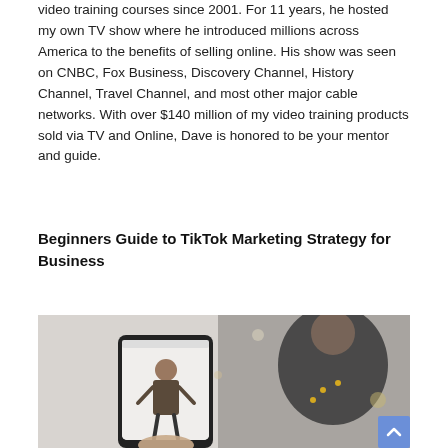video training courses since 2001. For 11 years, he hosted my own TV show where he introduced millions across America to the benefits of selling online. His show was seen on CNBC, Fox Business, Discovery Channel, History Channel, Travel Channel, and most other major cable networks. With over $140 million of my video training products sold via TV and Online, Dave is honored to be your mentor and guide.
Beginners Guide to TikTok Marketing Strategy for Business
[Figure (photo): A person holding a smartphone showing a video of someone on screen, with another person visible in the background wearing a dark top.]